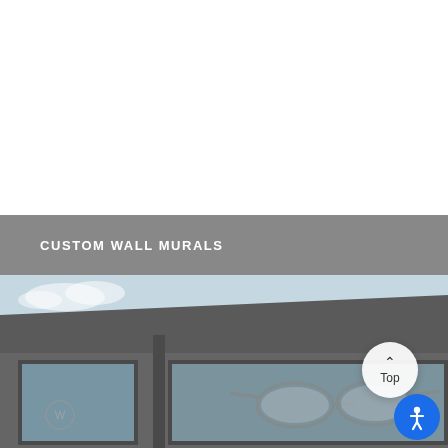CUSTOM WALL MURALS
[Figure (photo): Exterior of a commercial building with dark gray stucco facade, large windows, and a window display showing sunglasses graphics. Blue sky visible in background. A 'Top' scroll button and accessibility icon button are overlaid on the image.]